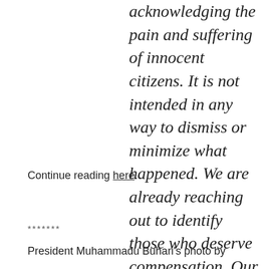acknowledging the pain and suffering of innocent citizens. It is not intended in any way to dismiss or minimize what happened. We are already reaching out to identify those who deserve compensation. Our Twitter handle @NGRPresident will release further information shortly.
Continue reading here.
*******
President Muhammadu Buhari's photo by